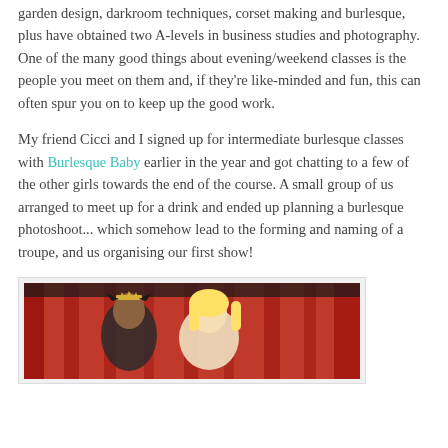garden design, darkroom techniques, corset making and burlesque, plus have obtained two A-levels in business studies and photography. One of the many good things about evening/weekend classes is the people you meet on them and, if they're like-minded and fun, this can often spur you on to keep up the good work.
My friend Cicci and I signed up for intermediate burlesque classes with Burlesque Baby earlier in the year and got chatting to a few of the other girls towards the end of the course. A small group of us arranged to meet up for a drink and ended up planning a burlesque photoshoot... which somehow lead to the forming and naming of a troupe, and us organising our first show!
[Figure (photo): Photo of two women on a stage with a red curtain backdrop. One woman is wearing a crown/tiara and a dark outfit, the other has blonde hair. The setting appears to be a burlesque performance venue.]